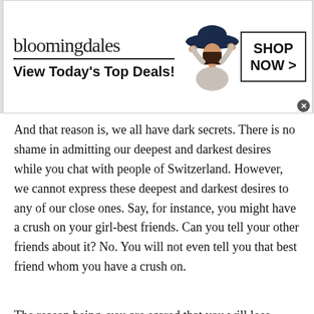[Figure (screenshot): Bloomingdales advertisement banner with logo, 'View Today's Top Deals!' tagline, woman in hat, and 'SHOP NOW >' button]
And that reason is, we all have dark secrets. There is no shame in admitting our deepest and darkest desires while you chat with people of Switzerland. However, we cannot express these deepest and darkest desires to any of our close ones. Say, for instance, you might have a crush on your girl-best friends. Can you tell your other friends about it? No. You will not even tell you that best friend whom you have a crush on.
The reason being, you are scared that you will lose
[Figure (screenshot): Frontgate SALES advertisement — up to 50% off, frontgate.com, with outdoor furniture image and blue arrow button]